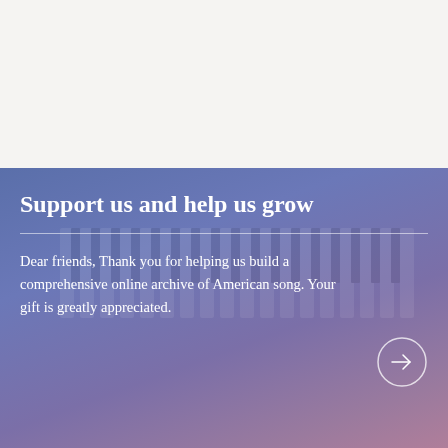[Figure (illustration): Top white/cream background area, blank]
Support us and help us grow
Dear friends, Thank you for helping us build a comprehensive online archive of American song. Your gift is greatly appreciated.